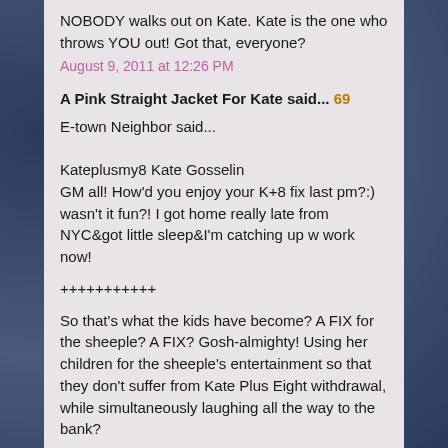NOBODY walks out on Kate. Kate is the one who throws YOU out! Got that, everyone?
August 9, 2011 at 12:26 PM
A Pink Straight Jacket For Kate said... 69
E-town Neighbor said...

Kateplusmy8 Kate Gosselin
GM all! How'd you enjoy your K+8 fix last pm?:) wasn't it fun?! I got home really late from NYC&got little sleep&I'm catching up w work now!
+++++++++++
So that's what the kids have become? A FIX for the sheeple? A FIX? Gosh-almighty! Using her children for the sheeple's entertainment so that they don't suffer from Kate Plus Eight withdrawal, while simultaneously laughing all the way to the bank?
Doesn't it just make you want to tear your hair out?